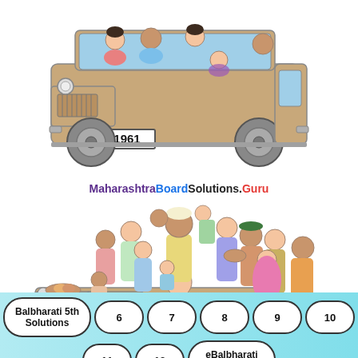[Figure (illustration): Illustration of a tan/beige jeep with license plate '1961', carrying passengers visible through windshield and side window, shown from a front-side angle.]
MaharashtraBoardSolutions.Guru
[Figure (illustration): Illustration of the same jeep overloaded with a large crowd of people of various ages and attire, sitting on the hood, hanging off the sides, and standing around the vehicle.]
Balbharati 5th Solutions  6  7  8  9  10  11  12  eBalbharati Books